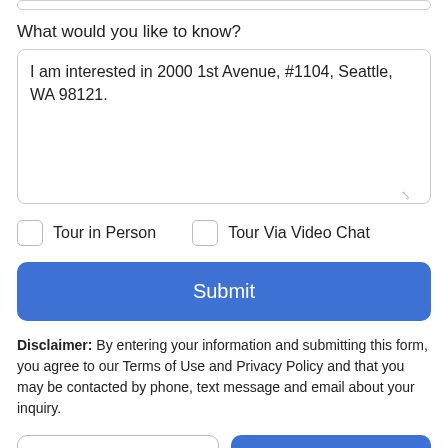What would you like to know?
I am interested in 2000 1st Avenue, #1104, Seattle, WA 98121.
Tour in Person
Tour Via Video Chat
Submit
Disclaimer: By entering your information and submitting this form, you agree to our Terms of Use and Privacy Policy and that you may be contacted by phone, text message and email about your inquiry.
Take a Tour
Ask A Question